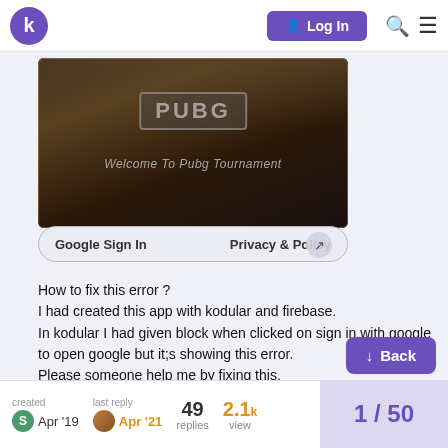k  Log In
[Figure (screenshot): PUBG Tournament app screenshot showing 'Welcome To Pubg Tournament' text with PUBG logo, Google Sign In and Privacy & Policy buttons at the bottom]
How to fix this error ?
I had created this app with kodular and firebase.
In kodular I had given block when clicked on sign in with google to open google but it;s showing this error.
Please someone help me by fixing this.
created Apr '19  last reply Apr '21  49 replies  2.1k views  1 / 50